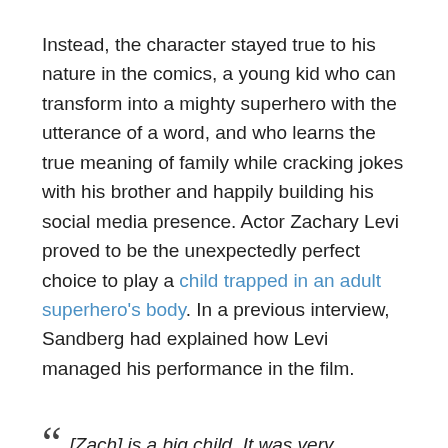Instead, the character stayed true to his nature in the comics, a young kid who can transform into a mighty superhero with the utterance of a word, and who learns the true meaning of family while cracking jokes with his brother and happily building his social media presence. Actor Zachary Levi proved to be the unexpectedly perfect choice to play a child trapped in an adult superhero's body. In a previous interview, Sandberg had explained how Levi managed his performance in the film.
“[Zach] is a big child. It was very interesting, because auditioning all these people before him I saw what a lot of people do when they try to act like a child, which is that they lower their IQ or they act dumber. But then when I